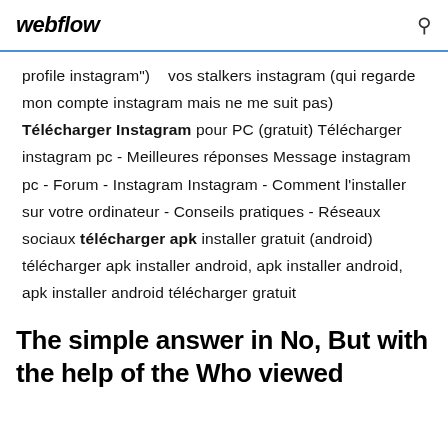webflow
profile instagram")    vos stalkers instagram (qui regarde mon compte instagram mais ne me suit pas) Télécharger Instagram pour PC (gratuit) Télécharger instagram pc - Meilleures réponses Message instagram pc - Forum - Instagram Instagram - Comment l'installer sur votre ordinateur - Conseils pratiques - Réseaux sociaux télécharger apk installer gratuit (android) télécharger apk installer android, apk installer android, apk installer android télécharger gratuit
The simple answer in No, But with the help of the Who viewed